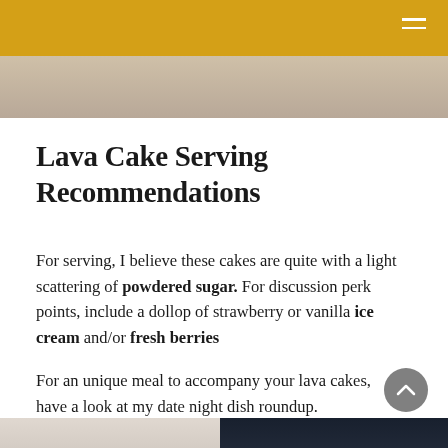[Figure (photo): Partial photo strip at top of page showing food/cake]
Lava Cake Serving Recommendations
For serving, I believe these cakes are quite with a light scattering of powdered sugar. For discussion perk points, include a dollop of strawberry or vanilla ice cream and/or fresh berries
For an unique meal to accompany your lava cakes, have a look at my date night dish roundup.
[Figure (photo): Photo strip at bottom of page showing two side-by-side images of food/dessert]